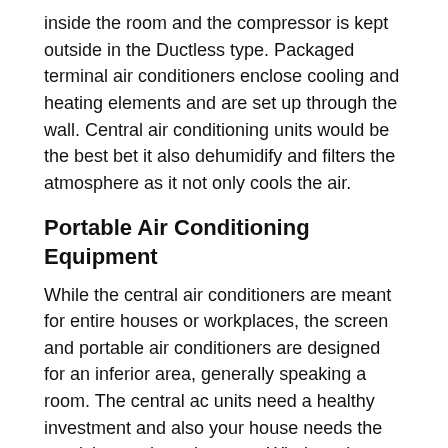inside the room and the compressor is kept outside in the Ductless type. Packaged terminal air conditioners enclose cooling and heating elements and are set up through the wall. Central air conditioning units would be the best bet it also dehumidify and filters the atmosphere as it not only cools the air.
Portable Air Conditioning Equipment
While the central air conditioners are meant for entire houses or workplaces, the screen and portable air conditioners are designed for an inferior area, generally speaking a room. The central ac units need a healthy investment and also your house needs the provisions to have it set up. Window air conditioners also need to be fitted to the window or a wall and requires installation facilities.
Portable air conditioners are a lot better as they are not...